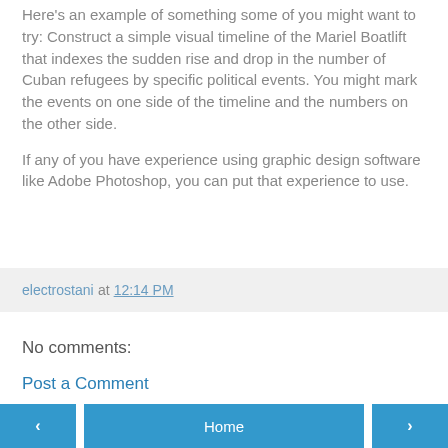Here's an example of something some of you might want to try: Construct a simple visual timeline of the Mariel Boatlift that indexes the sudden rise and drop in the number of Cuban refugees by specific political events. You might mark the events on one side of the timeline and the numbers on the other side.
If any of you have experience using graphic design software like Adobe Photoshop, you can put that experience to use.
electrostani at 12:14 PM
No comments:
Post a Comment
< Home >